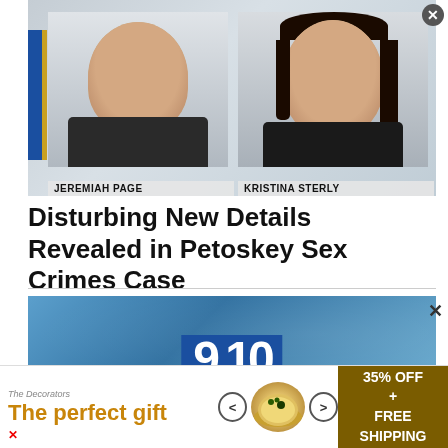[Figure (photo): Mugshot photos of two suspects side by side with names labeled below: JEREMIAH PAGE (left) and KRISTINA STERLY (right). Blue left accent bar with gold stripe visible.]
Disturbing New Details Revealed in Petoskey Sex Crimes Case
[Figure (screenshot): Video thumbnail showing a blue gradient background with a map and a large '9&10' logo in white on a blue rectangle, representing a local news station video.]
The perfect gift
35% OFF + FREE SHIPPING